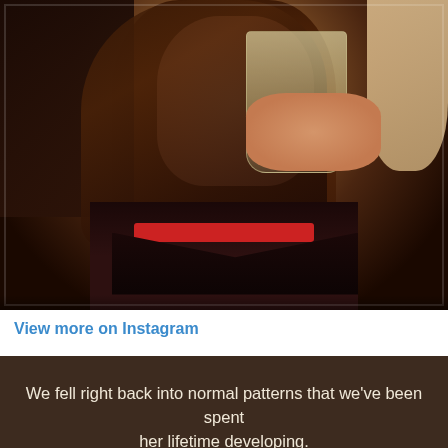[Figure (photo): A woman drinking from a wine glass in a restaurant setting, with other people visible in the background. She has long dark hair and is wearing a dark top with a red accent at the neckline.]
View more on Instagram
We fell right back into normal patterns that we've been spent her lifetime developing.
I nagged.  She pushed my buttons.  There may have been